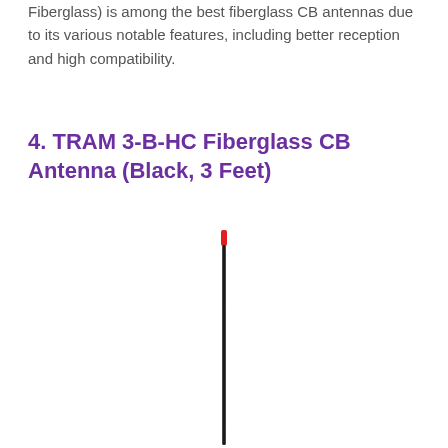Fiberglass) is among the best fiberglass CB antennas due to its various notable features, including better reception and high compatibility.
4. TRAM 3-B-HC Fiberglass CB Antenna (Black, 3 Feet)
[Figure (photo): A tall, thin black CB antenna with a small red tip at the top, shown vertically against a white background.]